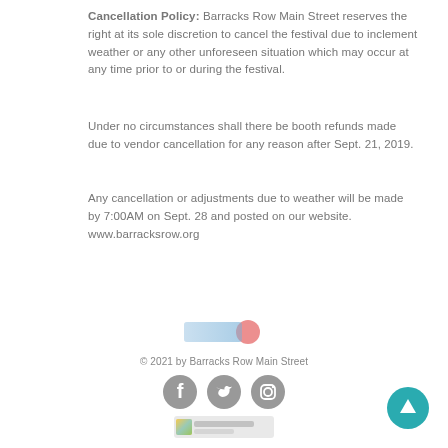Cancellation Policy: Barracks Row Main Street reserves the right at its sole discretion to cancel the festival due to inclement weather or any other unforeseen situation which may occur at any time prior to or during the festival.
Under no circumstances shall there be booth refunds made due to vendor cancellation for any reason after Sept. 21, 2019.
Any cancellation or adjustments due to weather will be made by 7:00AM on Sept. 28 and posted on our website. www.barracksrow.org
[Figure (logo): Blurred logo with blue and red tones]
© 2021 by Barracks Row Main Street
[Figure (logo): Social media icons: Facebook, Twitter, Instagram (gray circles)]
[Figure (logo): Blurred colorful bottom logo bar]
[Figure (other): Teal scroll-to-top button with upward arrow]